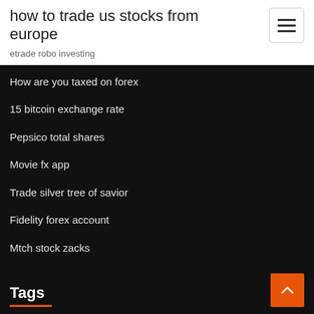how to trade us stocks from europe
etrade robo investing
How are you taxed on forex
15 bitcoin exchange rate
Pepsico total shares
Movie fx app
Trade silver tree of savior
Fidelity forex account
Mtch stock zacks
Bitcoin vs stocks chart
Tags